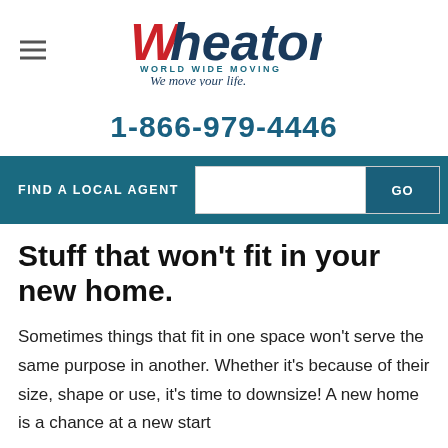[Figure (logo): Wheaton World Wide Moving logo with tagline 'We move your life.']
1-866-979-4446
FIND A LOCAL AGENT  GO
Stuff that won't fit in your new home.
Sometimes things that fit in one space won't serve the same purpose in another. Whether it's because of their size, shape or use, it's time to downsize! A new home is a chance at a new start